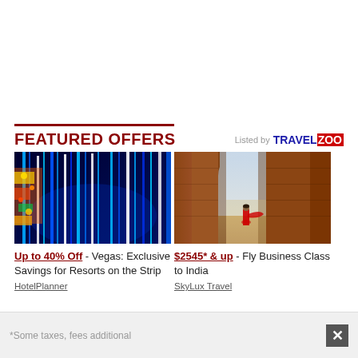FEATURED OFFERS
Listed by TRAVELZOO
[Figure (photo): Colorful neon light strips and illuminated decorative elements on Las Vegas Strip at night]
[Figure (photo): Woman in red sari standing in archway of red sandstone building with Taj Mahal visible in background]
Up to 40% Off - Vegas: Exclusive Savings for Resorts on the Strip
HotelPlanner
$2545* & up - Fly Business Class to India
SkyLux Travel
*Some taxes, fees additional